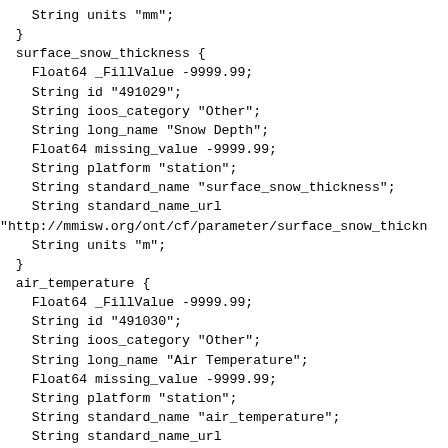String units "mm";
  }
  surface_snow_thickness {
    Float64 _FillValue -9999.99;
    String id "491029";
    String ioos_category "Other";
    String long_name "Snow Depth";
    Float64 missing_value -9999.99;
    String platform "station";
    String standard_name "surface_snow_thickness";
    String standard_name_url
"http://mmisw.org/ont/cf/parameter/surface_snow_thickn
    String units "m";
  }
  air_temperature {
    Float64 _FillValue -9999.99;
    String id "491030";
    String ioos_category "Other";
    String long_name "Air Temperature";
    Float64 missing_value -9999.99;
    String platform "station";
    String standard_name "air_temperature";
    String standard_name_url
"http://mmisw.org/ont/cf/parameter/air_temperature";
    String units "degree_Celsius";